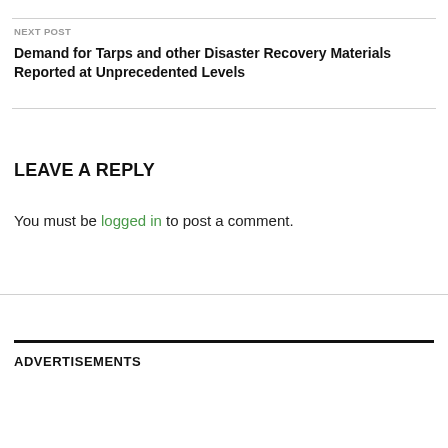NEXT POST
Demand for Tarps and other Disaster Recovery Materials Reported at Unprecedented Levels
LEAVE A REPLY
You must be logged in to post a comment.
ADVERTISEMENTS